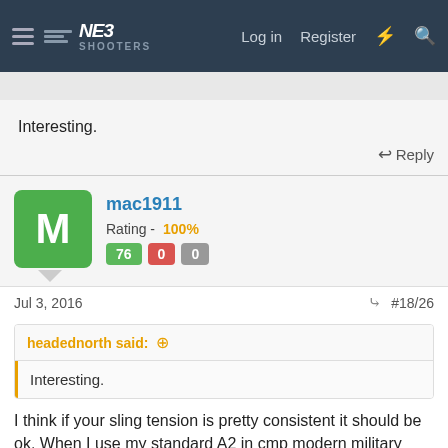NE3 Shooters — navigation bar with Log in, Register
Interesting.
↩ Reply
mac1911   Rating - 100%   76  0  0
Jul 3, 2016   #18/26
headednorth said: ↑
Interesting.
I think if your sling tension is pretty consistent it should be ok. When I use my standard A2 in cmp modern military match (can not use a free float but you can attach sling to hand guard) I use